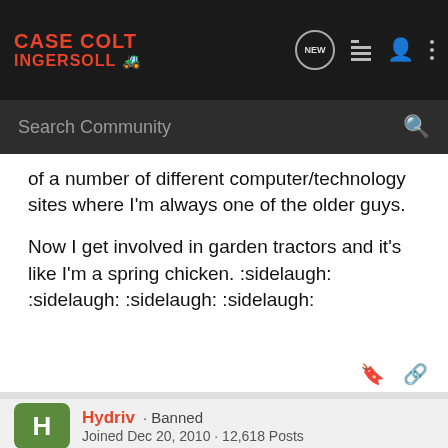Case Colt Ingersoll [logo with navigation icons: NEW, list, user, menu]
Search Community
of a number of different computer/technology sites where I'm always one of the older guys.
Now I get involved in garden tractors and it's like I'm a spring chicken. :sidelaugh: :sidelaugh: :sidelaugh: :sidelaugh:
Hydriv · Banned
Joined Dec 20, 2010 · 12,618 Posts
#10 · Jan 4, 2011
They sti[image]ust have to[image]fact,